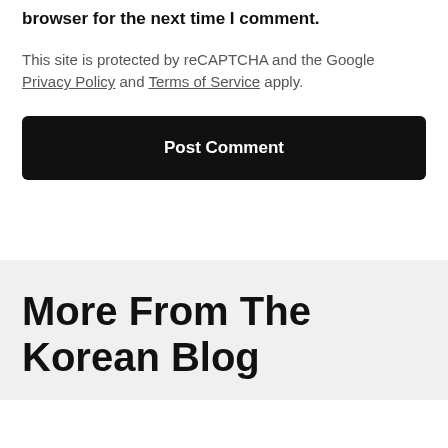browser for the next time I comment.
This site is protected by reCAPTCHA and the Google Privacy Policy and Terms of Service apply.
Post Comment
More From The Korean Blog